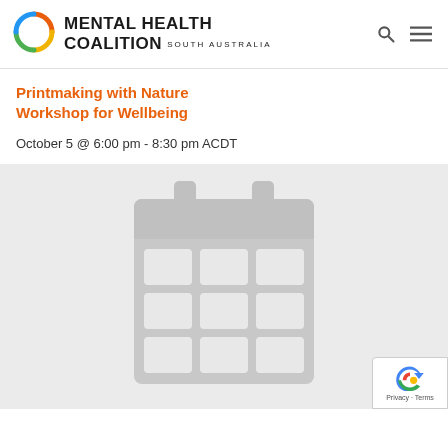Mental Health Coalition South Australia
Printmaking with Nature Workshop for Wellbeing
October 5 @ 6:00 pm - 8:30 pm ACDT
[Figure (illustration): Grey calendar icon on a light grey background, showing a monthly grid with 3 rows of 3 cells and two tab marks at the top]